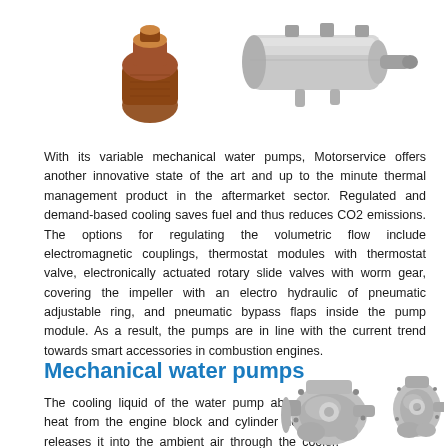[Figure (photo): Close-up photo of variable mechanical water pump components including a brown/copper colored part and metallic silver cylindrical parts on white background]
With its variable mechanical water pumps, Motorservice offers another innovative state of the art and up to the minute thermal management product in the aftermarket sector. Regulated and demand-based cooling saves fuel and thus reduces CO2 emissions. The options for regulating the volumetric flow include electromagnetic couplings, thermostat modules with thermostat valve, electronically actuated rotary slide valves with worm gear, covering the impeller with an electro hydraulic of pneumatic adjustable ring, and pneumatic bypass flaps inside the pump module. As a result, the pumps are in line with the current trend towards smart accessories in combustion engines.
Mechanical water pumps
The cooling liquid of the water pump absorbs the heat from the engine block and cylinder head and releases it into the ambient air through the cooler. Depending on their
[Figure (photo): Two mechanical water pump assemblies shown in silver/metallic color against white background]